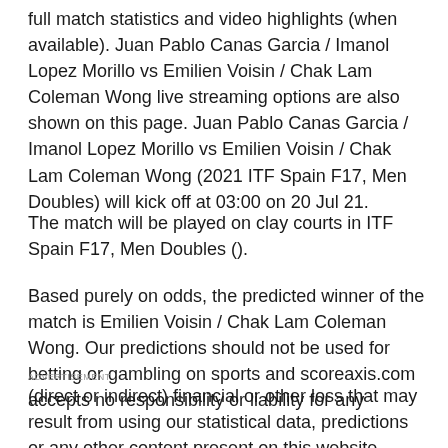full match statistics and video highlights (when available). Juan Pablo Canas Garcia / Imanol Lopez Morillo vs Emilien Voisin / Chak Lam Coleman Wong live streaming options are also shown on this page. Juan Pablo Canas Garcia / Imanol Lopez Morillo vs Emilien Voisin / Chak Lam Coleman Wong (2021 ITF Spain F17, Men Doubles) will kick off at 03:00 on 20 Jul 21.
The match will be played on clay courts in ITF Spain F17, Men Doubles ().
Based purely on odds, the predicted winner of the match is Emilien Voisin / Chak Lam Coleman Wong. Our predictions should not be used for betting or gambling on sports and scoreaxis.com accepts no responsibility or liability for any (direct or indirect) financial or other loss that may result from using our statistical data, predictions or any other content present on this website.
ADVERTISEMENT